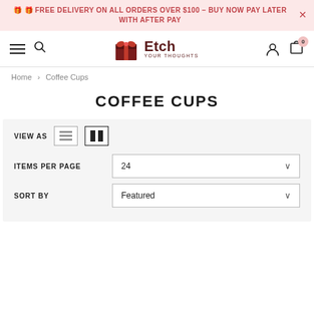🎁 🎁 FREE DELIVERY ON ALL ORDERS OVER $100 – BUY NOW PAY LATER WITH AFTER PAY
[Figure (logo): Etch Your Thoughts logo with gift box icon]
Home > Coffee Cups
COFFEE CUPS
VIEW AS [list icon] [grid icon]
ITEMS PER PAGE  24
SORT BY  Featured